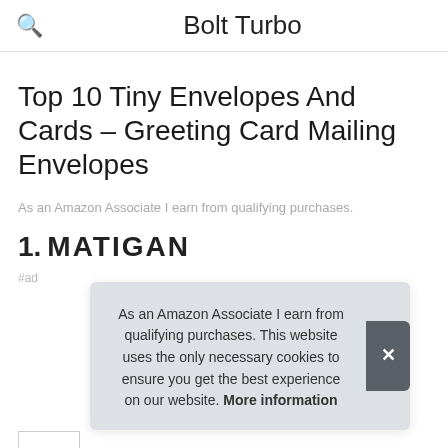Bolt Turbo
Top 10 Tiny Envelopes And Cards – Greeting Card Mailing Envelopes
As an Amazon Associate I earn from qualifying purchases.
1. MATIGAN
#ad
As an Amazon Associate I earn from qualifying purchases. This website uses the only necessary cookies to ensure you get the best experience on our website. More information